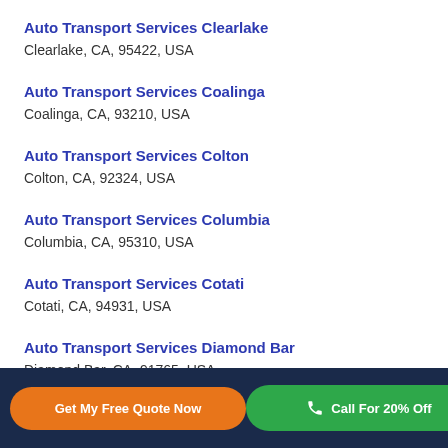Auto Transport Services Clearlake
Clearlake, CA, 95422, USA
Auto Transport Services Coalinga
Coalinga, CA, 93210, USA
Auto Transport Services Colton
Colton, CA, 92324, USA
Auto Transport Services Columbia
Columbia, CA, 95310, USA
Auto Transport Services Cotati
Cotati, CA, 94931, USA
Auto Transport Services Diamond Bar
Diamond Bar, CA, 91765, USA
Auto Transport Services Dunsmuir
Get My Free Quote Now
Call For 20% Off